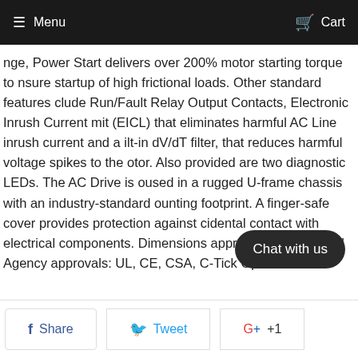Menu   Cart
nge, Power Start delivers over 200% motor starting torque to nsure startup of high frictional loads. Other standard features clude Run/Fault Relay Output Contacts, Electronic Inrush Current mit (EICL) that eliminates harmful AC Line inrush current and a ilt-in dV/dT filter, that reduces harmful voltage spikes to the otor. Also provided are two diagnostic LEDs. The AC Drive is oused in a rugged U-frame chassis with an industry-standard ounting footprint. A finger-safe cover provides protection against cidental contact with electrical components. Dimensions approx. 3" x 3.9" x 2.5" Agency approvals: UL, CE, CSA, C-Tick Optional cessories include: SIVFR Signal Isolator, MSB Multi Speed oard, RFI Filters Class A ; B, DLM Download Module, Drive nktm Programming Kit, Modbus Communications Kit, Dynamic ake Module.
Chat with us
Share   Tweet   +1